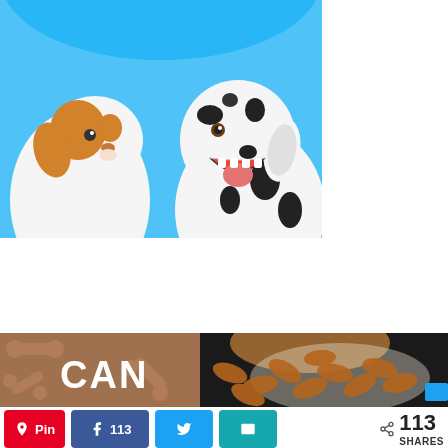[Figure (photo): Two dogs — a small Jack Russell terrier and a Dalmatian — against a bright blue background. The Jack Russell looks upward and the Dalmatian has its mouth open.]
[Figure (photo): Banner image split in two: left side is a brown background with bone illustrations and the white text 'CAN'; right side shows a bowl of almonds on a dark wooden surface.]
[Figure (infographic): Social share bar with Pinterest (red), Facebook (blue, 113 shares), Twitter (blue), and Email (teal) buttons, plus a total share count of 113 SHARES.]